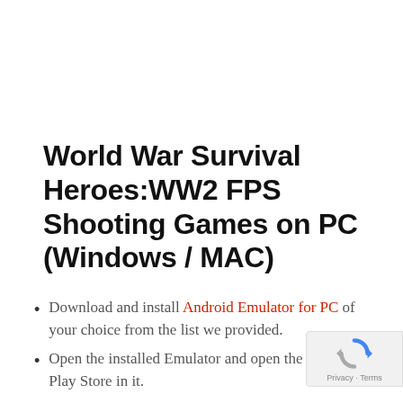World War Survival Heroes:WW2 FPS Shooting Games on PC (Windows / MAC)
Download and install Android Emulator for PC of your choice from the list we provided.
Open the installed Emulator and open the Google Play Store in it.